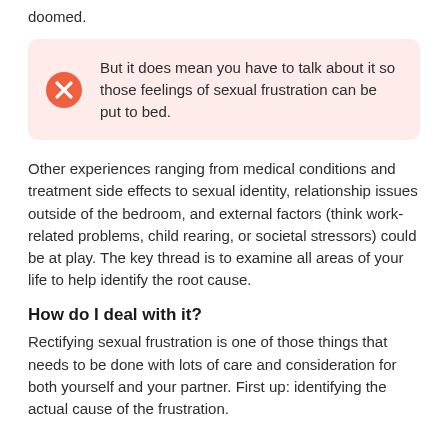doomed.
But it does mean you have to talk about it so those feelings of sexual frustration can be put to bed.
Other experiences ranging from medical conditions and treatment side effects to sexual identity, relationship issues outside of the bedroom, and external factors (think work-related problems, child rearing, or societal stressors) could be at play. The key thread is to examine all areas of your life to help identify the root cause.
How do I deal with it?
Rectifying sexual frustration is one of those things that needs to be done with lots of care and consideration for both yourself and your partner. First up: identifying the actual cause of the frustration.